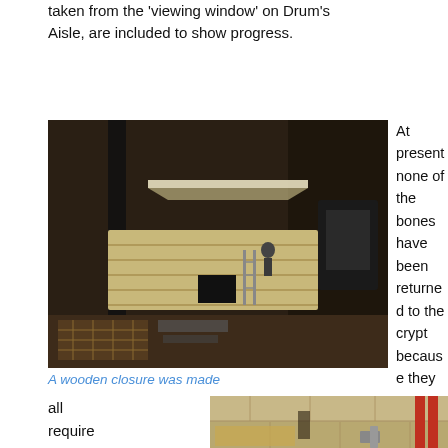taken from the 'viewing window' on Drum's Aisle, are included to show progress.
[Figure (photo): Aerial view of an excavation site inside a building, showing a wooden closure/platform over a crypt, with construction materials and lighting visible]
A wooden closure was made
At present none of the bones have been returned to the crypt because they
all require placin
[Figure (photo): View of an excavation site showing stone walls, construction materials and a person at work]